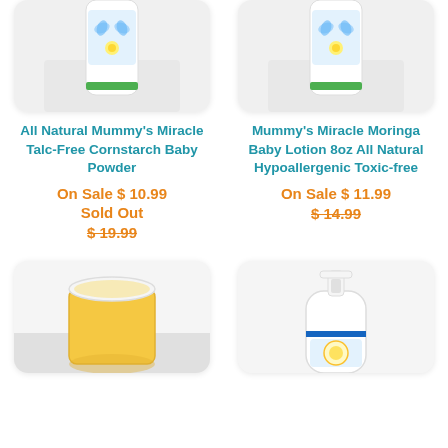[Figure (photo): Top portion of product bottle partially visible, cropped at top - left column]
[Figure (photo): Top portion of product bottle partially visible, cropped at top - right column]
All Natural Mummy's Miracle Talc-Free Cornstarch Baby Powder
On Sale $ 10.99
Sold Out
$ 19.99
Mummy's Miracle Moringa Baby Lotion 8oz All Natural Hypoallergenic Toxic-free
On Sale $ 11.99
$ 14.99
[Figure (photo): Glass jar with white lid containing yellow product - bottom left]
[Figure (photo): Pump bottle with label and blue stripe - bottom right]